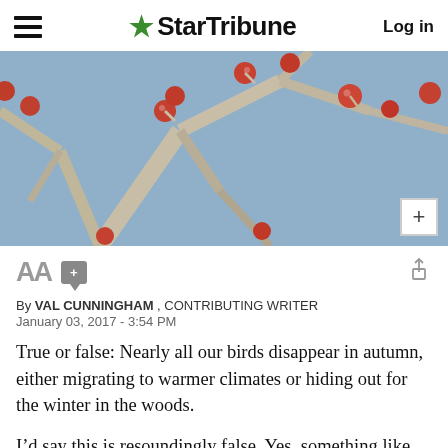StarTribune — Log in
[Figure (photo): Close-up of bare winter tree branches with small red berries against a gray-blue sky]
AA [font size control] [comment button] [share button]
By VAL CUNNINGHAM , CONTRIBUTING WRITER
January 03, 2017 - 3:54 PM
True or false: Nearly all our birds disappear in autumn, either migrating to warmer climates or hiding out for the winter in the woods.
I’d say this is resoundingly false. Yes, something like three-fourths of the species we see in the summertime depart for warmer climates each fall. But that still leaves a goodly number of year-r[ound birds, as w]ell as some bi[rds that are vis]iting